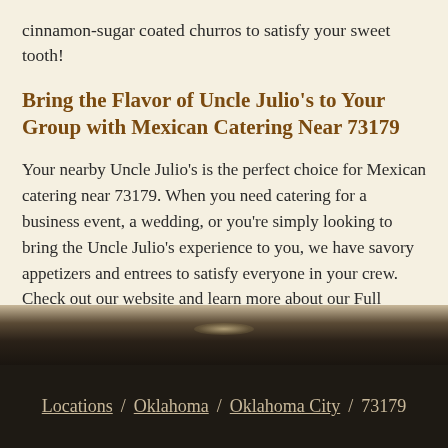cinnamon-sugar coated churros to satisfy your sweet tooth!
Bring the Flavor of Uncle Julio's to Your Group with Mexican Catering Near 73179
Your nearby Uncle Julio's is the perfect choice for Mexican catering near 73179. When you need catering for a business event, a wedding, or you're simply looking to bring the Uncle Julio's experience to you, we have savory appetizers and entrees to satisfy everyone in your crew. Check out our website and learn more about our Full Service and Express Service options, and send us an email at mailto:catering@unclejulios.com so that we can discuss your catering needs.
[Figure (photo): Dark textured footer divider with a faint light glow at center, transitioning from tan to dark brown/black.]
Locations / Oklahoma / Oklahoma City / 73179